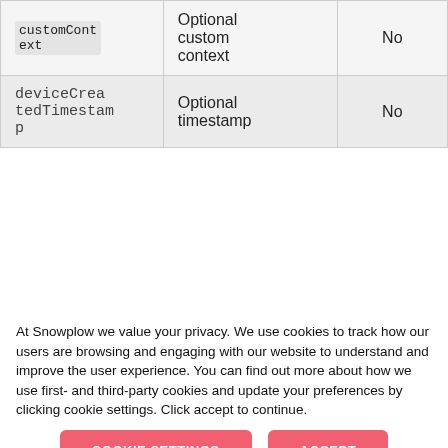|  |  |  |
| --- | --- | --- |
| customContext | Optional custom context | No |
| deviceCreatedTimestamp | Optional timestamp | No |
At Snowplow we value your privacy. We use cookies to track how our users are browsing and engaging with our website to understand and improve the user experience. You can find out more about how we use first- and third-party cookies and update your preferences by clicking cookie settings. Click accept to continue.